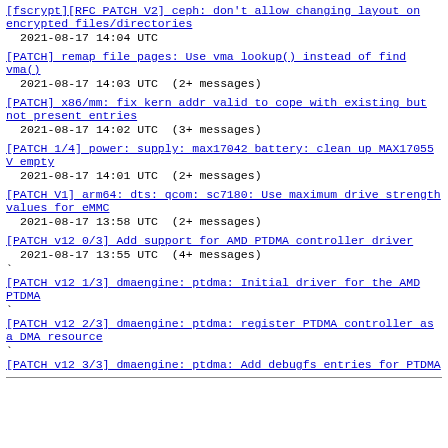[fscrypt][RFC PATCH V2] ceph: don't allow changing layout on encrypted files/directories
2021-08-17 14:04 UTC
[PATCH] remap file pages: Use vma lookup() instead of find vma()
2021-08-17 14:03 UTC  (2+ messages)
[PATCH] x86/mm: fix kern addr valid to cope with existing but not present entries
2021-08-17 14:02 UTC  (3+ messages)
[PATCH 1/4] power: supply: max17042 battery: clean up MAX17055 V empty
2021-08-17 14:01 UTC  (2+ messages)
[PATCH V1] arm64: dts: qcom: sc7180: Use maximum drive strength values for eMMC
2021-08-17 13:58 UTC  (2+ messages)
[PATCH v12 0/3] Add support for AMD PTDMA controller driver
2021-08-17 13:55 UTC  (4+ messages)
` [PATCH v12 1/3] dmaengine: ptdma: Initial driver for the AMD PTDMA
` [PATCH v12 2/3] dmaengine: ptdma: register PTDMA controller as a DMA resource
` [PATCH v12 3/3] dmaengine: ptdma: Add debugfs entries for PTDMA